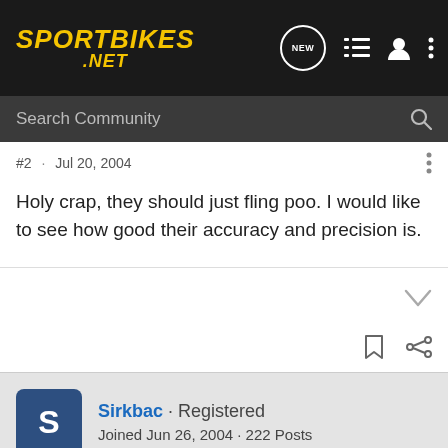Sportbikes .NET
#2 · Jul 20, 2004
Holy crap, they should just fling poo. I would like to see how good their accuracy and precision is.
Sirkbac · Registered
Joined Jun 26, 2004 · 222 Posts